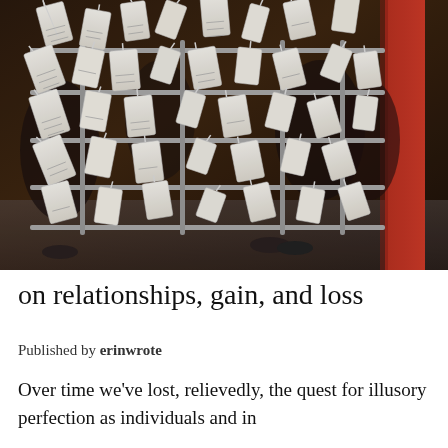[Figure (photo): A photo of omikuji (Japanese paper fortunes) tied to metal racks at a shrine. Many white folded slips of paper are tied along horizontal metal bars, with a red post visible on the right. People are visible in the dark background.]
on relationships, gain, and loss
Published by erinwrote
Over time we've lost, relievedly, the quest for illusory perfection as individuals and in